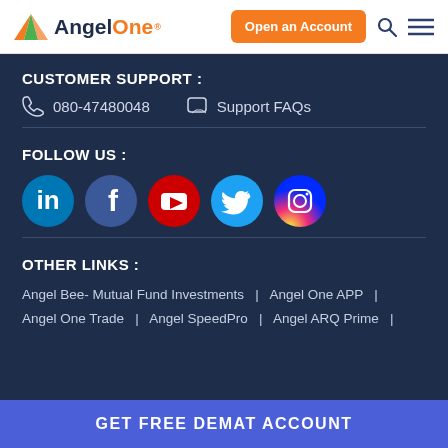[Figure (logo): AngelOne logo with orange triangle/pyramid icon and 'Angel' in dark blue, 'One' in orange text]
Open an Account
CUSTOMER SUPPORT :
080-47480048
Support FAQs
FOLLOW US :
[Figure (infographic): Social media icons: LinkedIn (blue circle), Facebook (blue circle), YouTube (red circle), Twitter (light blue circle), Instagram (gradient orange-pink circle)]
OTHER LINKS :
Angel Bee- Mutual Fund Investments  |  Angel One APP  |
Angel One Trade  |  Angel SpeedPro  |  Angel ARQ Prime  |
GET FREE DEMAT ACCOUNT